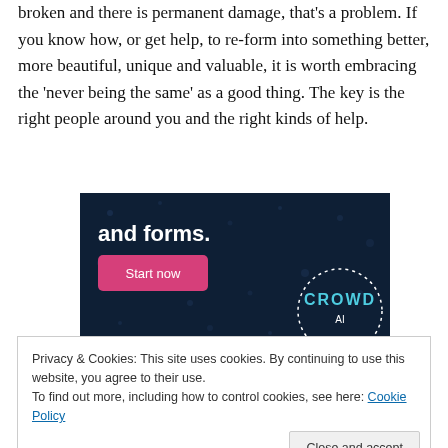broken and there is permanent damage, that's a problem. If you know how, or get help, to re-form into something better, more beautiful, unique and valuable, it is worth embracing the 'never being the same' as a good thing. The key is the right people around you and the right kinds of help.
[Figure (screenshot): Advertisement banner with dark navy background, text 'and forms.' in white, a pink 'Start now' button, and a CROWD logo in the bottom right corner with dotted circle border.]
Privacy & Cookies: This site uses cookies. By continuing to use this website, you agree to their use.
To find out more, including how to control cookies, see here: Cookie Policy